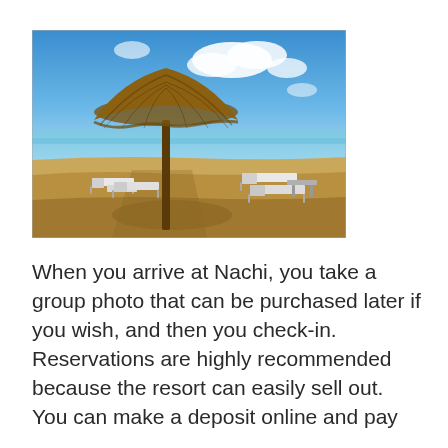[Figure (photo): Beach scene with a thatched palapa umbrella in the center, white lounge chairs on sandy beach, calm blue ocean and partly cloudy sky in the background.]
When you arrive at Nachi, you take a group photo that can be purchased later if you wish, and then you check-in. Reservations are highly recommended because the resort can easily sell out. You can make a deposit online and pay